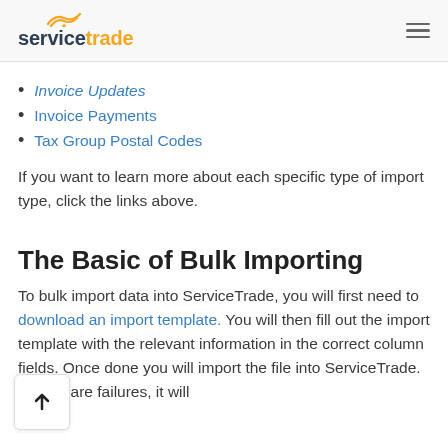servicetrade
Invoice Updates
Invoice Payments
Tax Group Postal Codes
If you want to learn more about each specific type of import type, click the links above.
The Basic of Bulk Importing
To bulk import data into ServiceTrade, you will first need to download an import template. You will then fill out the import template with the relevant information in the correct column fields. Once done you will import the file into ServiceTrade. If there are failures, it will